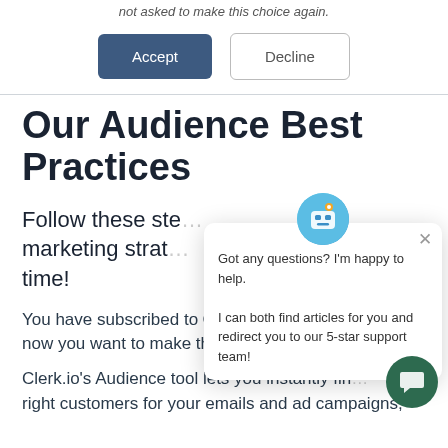not asked to make this choice again.
Accept  Decline
Our Audience Best Practices
Follow these ste... marketing strat... time!
You have subscribed to Clerk.io's Audience tool and now you want to make the most out of it!
Clerk.io's Audience tool lets you instantly fin... right customers for your emails and ad campaigns,
[Figure (screenshot): Chat popup widget with bot icon, close button, and message: Got any questions? I'm happy to help. I can both find articles for you and redirect you to our 5-star support team!]